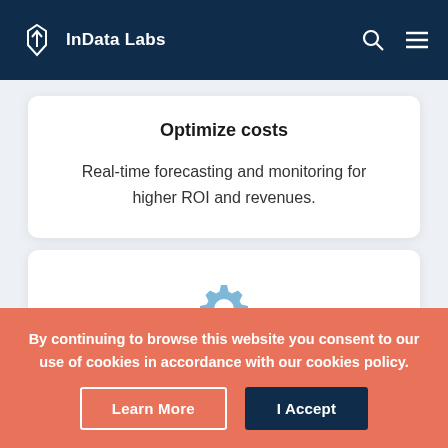InData Labs
Optimize costs
Real-time forecasting and monitoring for higher ROI and revenues.
[Figure (illustration): A blue gear/settings icon centered in a white card]
By continuing to browse this website you consent to our use of cookies in accordance with our cookies policy.